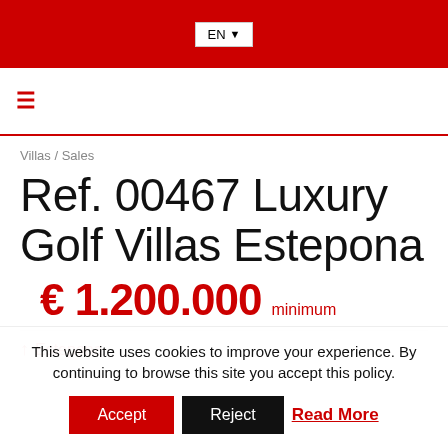EN
≡
Villas / Sales
Ref. 00467 Luxury Golf Villas Estepona
€ 1.200.000 minimum
Estepona
This website uses cookies to improve your experience. By continuing to browse this site you accept this policy.
Accept
Reject
Read More